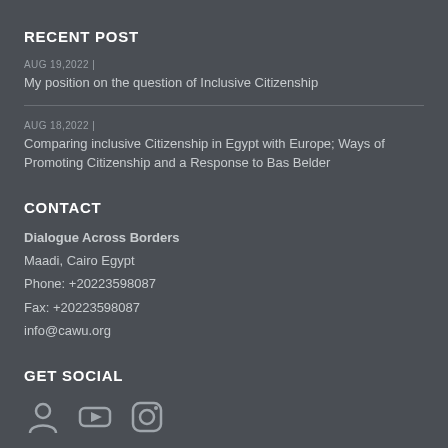RECENT POST
AUG 19,2022 |
My position on the question of Inclusive Citizenship
AUG 18,2022 |
Comparing inclusive Citizenship in Egypt with Europe; Ways of Promoting Citizenship and a Response to Bas Belder
CONTACT
Dialogue Across Borders
Maadi, Cairo Egypt
Phone: +20223598087
Fax: +20223598087
info@cawu.org
GET SOCIAL
[Figure (other): Social media icons: share/person icon, YouTube icon, Instagram icon]